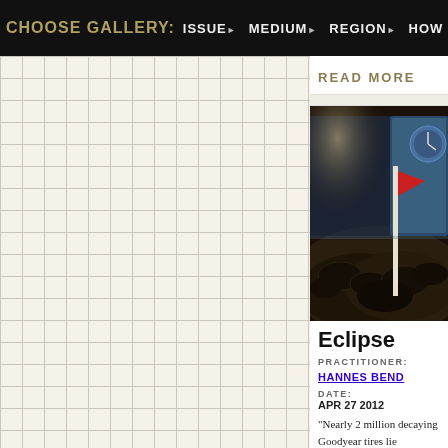CHOOSE GALLERY:  ISSUE▶  MEDIUM▶  REGION▶  HOW IT WORKS▶
READ MORE
[Figure (photo): Dark underwater or dimly lit scene with a red flag on a white pole, surrounded by dark masses of tires or debris, with blue-tinted background]
Eclipse
PRACTITIONER:
HANNES BEND
DATE:
APR 27 2012
"Nearly 2 million decaying Goodyear tires lie submerged off the coast of South Florida, decrepit hunks of rubber that have gradually succumbed to the pressures of tides and tropical storms. The steel cables th